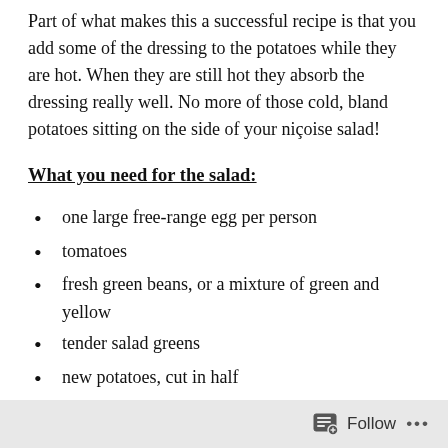Part of what makes this a successful recipe is that you add some of the dressing to the potatoes while they are hot. When they are still hot they absorb the dressing really well. No more of those cold, bland potatoes sitting on the side of your niçoise salad!
What you need for the salad:
one large free-range egg per person
tomatoes
fresh green beans, or a mixture of green and yellow
tender salad greens
new potatoes, cut in half
olives (niçoise if you can find them – I could not – kalamata work too)
(niçoise salad often has tuna on it; add that if you